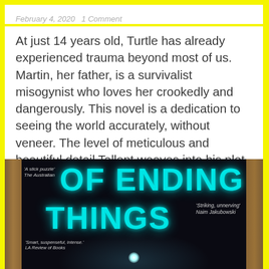February 4, 2020   1 Comment
At just 14 years old, Turtle has already experienced trauma beyond most of us. Martin, her father, is a survivalist misogynist who loves her crookedly and dangerously. This novel is a dedication to seeing the world accurately, without veneer. The level of meticulous and beautiful detail Tallent weaves into his plot means that we miss little. We see it all.
[Figure (photo): Book cover photo of 'Of Ending Things' displayed against a wooden background. The title appears in large cyan/teal glowing letters on a dark background. Blurbs include: 'A slick puzzle' The Australian, 'Striking, unnerving' Naim Jakubowski, 'Smart, suspenseful, intense.' LA Review of Books]